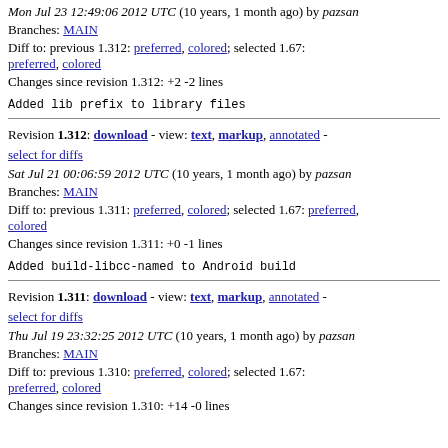Mon Jul 23 12:49:06 2012 UTC (10 years, 1 month ago) by pazsan
Branches: MAIN
Diff to: previous 1.312: preferred, colored; selected 1.67: preferred, colored
Changes since revision 1.312: +2 -2 lines
Added lib prefix to library files
Revision 1.312: download - view: text, markup, annotated - select for diffs
Sat Jul 21 00:06:59 2012 UTC (10 years, 1 month ago) by pazsan
Branches: MAIN
Diff to: previous 1.311: preferred, colored; selected 1.67: preferred, colored
Changes since revision 1.311: +0 -1 lines
Added build-libcc-named to Android build
Revision 1.311: download - view: text, markup, annotated - select for diffs
Thu Jul 19 23:32:25 2012 UTC (10 years, 1 month ago) by pazsan
Branches: MAIN
Diff to: previous 1.310: preferred, colored; selected 1.67: preferred, colored
Changes since revision 1.310: +14 -0 lines